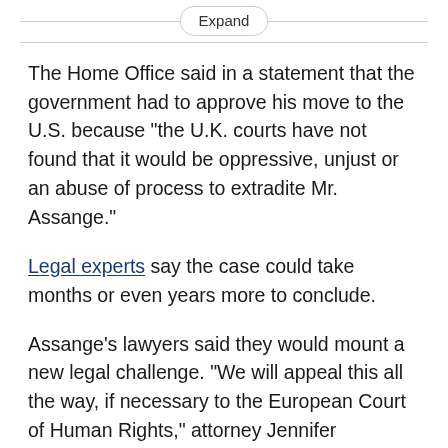Expand
The Home Office said in a statement that the government had to approve his move to the U.S. because "the U.K. courts have not found that it would be oppressive, unjust or an abuse of process to extradite Mr. Assange."
Legal experts say the case could take months or even years more to conclude.
Assange's lawyers said they would mount a new legal challenge. "We will appeal this all the way, if necessary to the European Court of Human Rights," attorney Jennifer Robinson said.
Robinson asked U.S. President Joe Biden to drop the